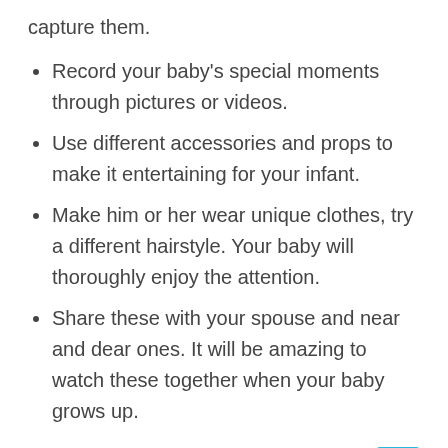capture them.
Record your baby's special moments through pictures or videos.
Use different accessories and props to make it entertaining for your infant.
Make him or her wear unique clothes, try a different hairstyle. Your baby will thoroughly enjoy the attention.
Share these with your spouse and near and dear ones. It will be amazing to watch these together when your baby grows up.
EMOTE
It is a beautiful game to play with your